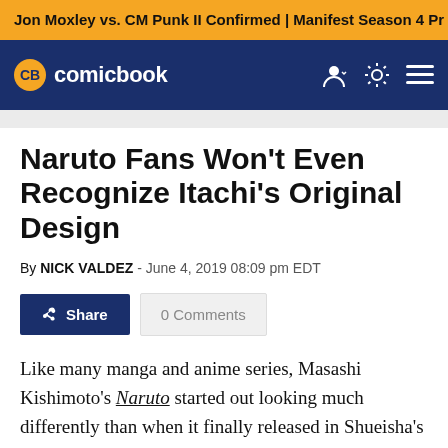Jon Moxley vs. CM Punk II Confirmed | Manifest Season 4 Pr
[Figure (logo): ComicBook.com logo — circular CB badge in gold on navy background, with 'comicbook' text in white]
Naruto Fans Won't Even Recognize Itachi's Original Design
By NICK VALDEZ - June 4, 2019 08:09 pm EDT
Share  0 Comments
Like many manga and anime series, Masashi Kishimoto's Naruto started out looking much differently than when it finally released in Shueisha's Weekly Shonen Jump. Characters often change from their first design concept to the final design, but some of these changes are so drastic